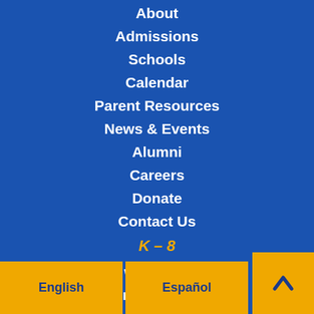About
Admissions
Schools
Calendar
Parent Resources
News & Events
Alumni
Careers
Donate
Contact Us
K – 8
363 West State St. on, NJ 08618
English
Español